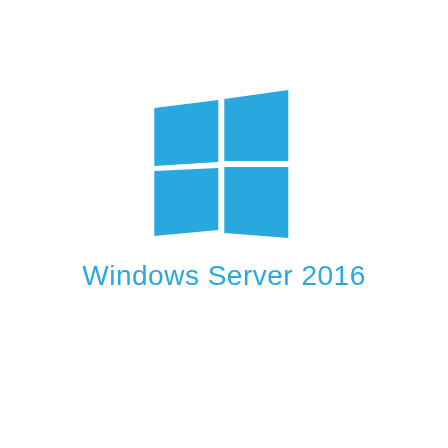[Figure (logo): Windows Server 2016 logo: four blue quadrilateral panes arranged in a 2x2 grid resembling the Windows logo, with the text 'Windows Server 2016' in light blue below]